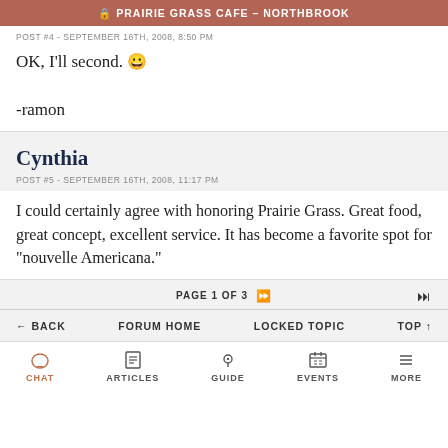PRAIRIE GRASS CAFE – NORTHBROOK
POST #4 - SEPTEMBER 16TH, 2008, 8:50 PM
OK, I'll second. 😊

-ramon
Cynthia
POST #5 - SEPTEMBER 16TH, 2008, 11:17 PM
I could certainly agree with honoring Prairie Grass. Great food, great concept, excellent service. It has become a favorite spot for "nouvelle Americana."
PAGE 1 OF 3
BACK   FORUM HOME   LOCKED TOPIC   TOP
CHAT   ARTICLES   GUIDE   EVENTS   MORE